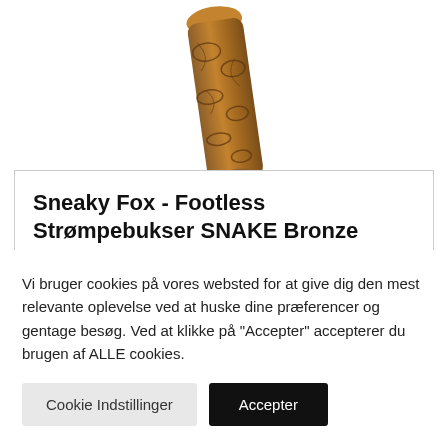[Figure (photo): Partial view of a leg wearing snake-print bronze/tan colored footless tights, shown from mid-thigh area, slightly tilted, against a white background.]
Sneaky Fox - Footless Strømpebukser SNAKE Bronze
Vi bruger cookies på vores websted for at give dig den mest relevante oplevelse ved at huske dine præferencer og gentage besøg. Ved at klikke på "Accepter" accepterer du brugen af ALLE cookies.
Cookie Indstillinger
Accepter